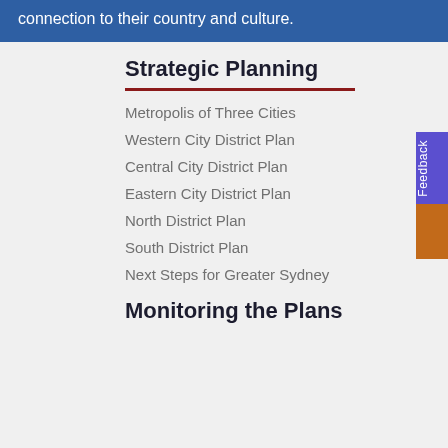connection to their country and culture.
Strategic Planning
Metropolis of Three Cities
Western City District Plan
Central City District Plan
Eastern City District Plan
North District Plan
South District Plan
Next Steps for Greater Sydney
Monitoring the Plans